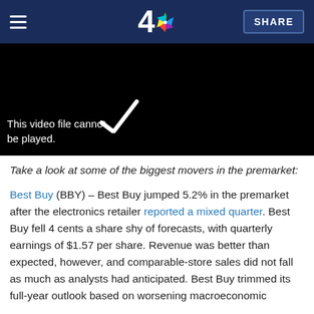NBC 4 — SHARE
[Figure (screenshot): Black video player area with text 'This video file cannot be played' and a play/forward icon overlay]
Take a look at some of the biggest movers in the premarket:
Best Buy (BBY) – Best Buy jumped 5.2% in the premarket after the electronics retailer reported a mixed quarter. Best Buy fell 4 cents a share shy of forecasts, with quarterly earnings of $1.57 per share. Revenue was better than expected, however, and comparable-store sales did not fall as much as analysts had anticipated. Best Buy trimmed its full-year outlook based on worsening macroeconomic